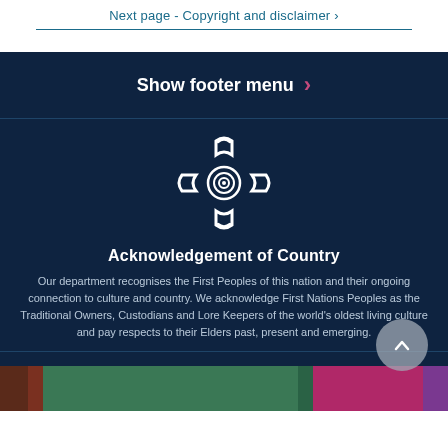Next page - Copyright and disclaimer ›
Show footer menu ›
[Figure (logo): Indigenous Australian circular symbol/logo in white on dark navy background]
Acknowledgement of Country
Our department recognises the First Peoples of this nation and their ongoing connection to culture and country. We acknowledge First Nations Peoples as the Traditional Owners, Custodians and Lore Keepers of the world's oldest living culture and pay respects to their Elders past, present and emerging.
[Figure (photo): Photo strip showing three cropped images at bottom of page]